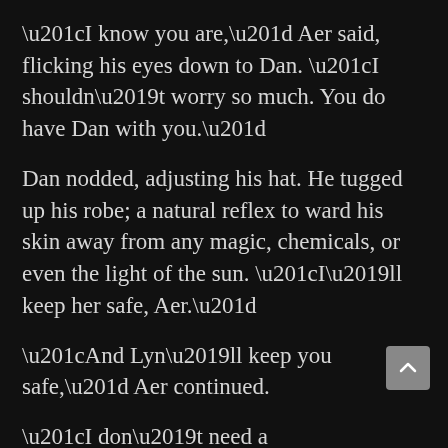“I know you are,” Aer said, flicking his eyes down to Dan. “I shouldn’t worry so much. You do have Dan with you.”
Dan nodded, adjusting his hat. He tugged up his robe; a natural reflex to ward his skin away from any magic, chemicals, or even the light of the sun. “I’ll keep her safe, Aer.”
“And Lyn’ll keep you safe,” Aer continued.
“I don’t need a babysitter,” Lyn pointed out, dryly. “Just because I’ve been gone for a few months doesn’t mean you need to start getting motherly.”